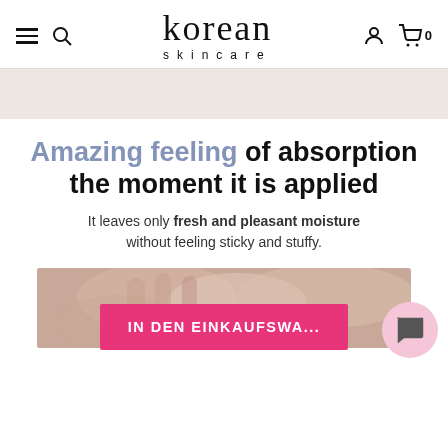korean skincare — navigation header with hamburger menu, search, user icon, cart (0)
[Figure (illustration): Beige/tan banner bar below navigation]
Amazing feeling of absorption the moment it is applied
It leaves only fresh and pleasant moisture without feeling sticky and stuffy.
[Figure (photo): Close-up photo of fingers/skin product application]
IN DEN EINKAUFSWA...